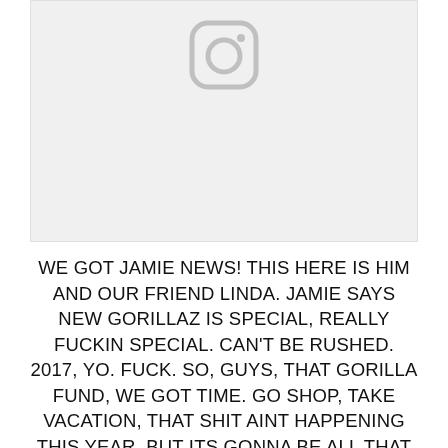[Figure (screenshot): Instagram placeholder image area with the Instagram camera icon centered at the top on a light grey background]
WE GOT JAMIE NEWS! THIS HERE IS HIM AND OUR FRIEND LINDA. JAMIE SAYS NEW GORILLAZ IS SPECIAL, REALLY FUCKIN SPECIAL. CAN'T BE RUSHED. 2017, YO. FUCK. SO, GUYS, THAT GORILLA FUND, WE GOT TIME. GO SHOP, TAKE VACATION, THAT SHIT AINT HAPPENING THIS YEAR. BUT ITS GONNA BE ALL THAT AND MORE. AND....JAMIE FOLLOWS US. SO....YOU GOT SOMETHING